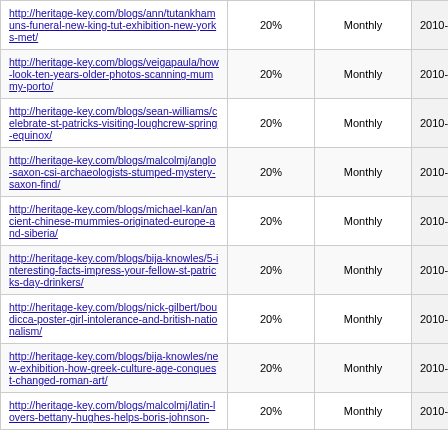| http://heritage-key.com/blogs/ann/tutankhamuns-funeral-new-king-tut-exhibition-new-yorks-met/ | 20% | Monthly | 2010-03-18 11:14 |
| http://heritage-key.com/blogs/veigapaula/how-look-ten-years-older-photos-scanning-mummy-porto/ | 20% | Monthly | 2010-03-17 17:23 |
| http://heritage-key.com/blogs/sean-williams/celebrate-st-patricks-visiting-loughcrew-spring-equinox/ | 20% | Monthly | 2010-03-17 14:33 |
| http://heritage-key.com/blogs/malcolmj/anglo-saxon-csi-archaeologists-stumped-mystery-saxon-find/ | 20% | Monthly | 2010-03-17 14:18 |
| http://heritage-key.com/blogs/michael-kan/ancient-chinese-mummies-originated-europe-and-siberia/ | 20% | Monthly | 2010-03-17 13:10 |
| http://heritage-key.com/blogs/bija-knowles/5-interesting-facts-impress-your-fellow-st-patricks-day-drinkers/ | 20% | Monthly | 2010-03-16 23:52 |
| http://heritage-key.com/blogs/nick-gilbert/boudicca-poster-girl-intolerance-and-british-nationalism/ | 20% | Monthly | 2010-03-16 12:34 |
| http://heritage-key.com/blogs/bija-knowles/new-exhibition-how-greek-culture-age-conquest-changed-roman-art/ | 20% | Monthly | 2010-03-16 12:12 |
| http://heritage-key.com/blogs/malcolmj/latin-lovers-bettany-hughes-helps-boris-johnson- | 20% | Monthly | 2010-03-16 10:27 |